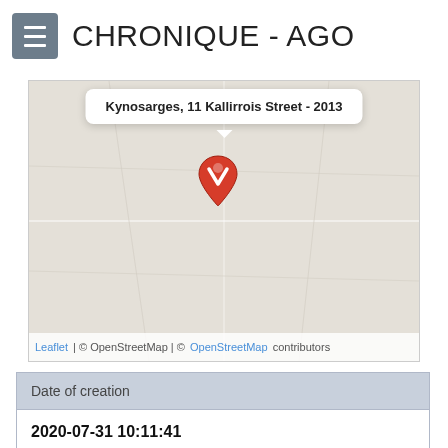CHRONIQUE - AGO
[Figure (map): A Leaflet/OpenStreetMap map showing a location marker at Kynosarges, 11 Kallirrois Street - 2013, with a popup tooltip and map attribution bar showing 'Leaflet | © OpenStreetMap | © OpenStreetMap contributors']
| Date of creation |
| --- |
| 2020-07-31 10:11:41 |